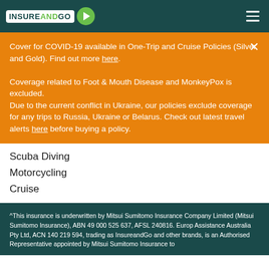InsureAndGo
Cover for COVID-19 available in One-Trip and Cruise Policies (Silver and Gold). Find out more here. Coverage related to Foot & Mouth Disease and MonkeyPox is excluded. Due to the current conflict in Ukraine, our policies exclude coverage for any trips to Russia, Ukraine or Belarus. Check out latest travel alerts here before buying a policy.
Scuba Diving
Motorcycling
Cruise
^This insurance is underwritten by Mitsui Sumitomo Insurance Company Limited (Mitsui Sumitomo Insurance), ABN 49 000 525 637, AFSL 240816. Europ Assistance Australia Pty Ltd, ACN 140 219 594, trading as InsureandGo and other brands, is an Authorised Representative appointed by Mitsui Sumitomo Insurance to